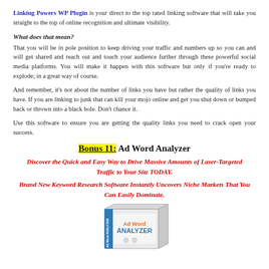Linking Powers WP Plugin is your direct to the top rated linking software that will take you straight to the top of online recognition and ultimate visibility.
What does that mean?
That you will be in pole position to keep driving your traffic and numbers up so you can and will get shared and reach out and touch your audience further through these powerful social media platforms. You will make it happen with this software but only if you're ready to explode; in a great way of course.
And remember, it's not about the number of links you have but rather the quality of links you have. If you are linking to junk that can kill your mojo online and get you shut down or bumped back or thrown into a black hole. Don't chance it.
Use this software to ensure you are getting the quality links you need to crack open your success.
Bonus 11: Ad Word Analyzer
Discover the Quick and Easy Way to Drive Massive Amounts of Laser-Targeted Traffic to Your Site TODAY.
Brand New Keyword Research Software Instantly Uncovers Niche Markets That You Can Easily Dominate.
[Figure (illustration): Ad Word Analyzer software box product image]